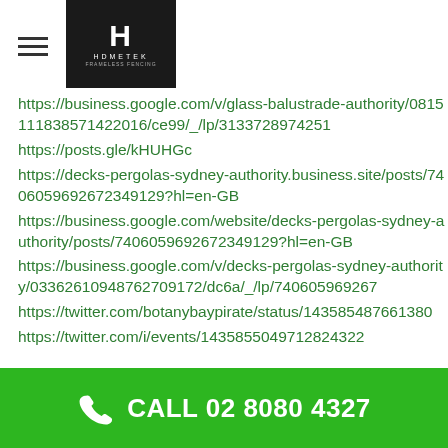HDMETEK
https://business.google.com/v/glass-balustrade-authority/0815111838571422016/ce99/_/lp/3133728974251
https://posts.gle/kHUHGc
https://decks-pergolas-sydney-authority.business.site/posts/7406059692672349129?hl=en-GB
https://business.google.com/website/decks-pergolas-sydney-authority/posts/7406059692672349129?hl=en-GB
https://business.google.com/v/decks-pergolas-sydney-authority/0336261094876270​9172/dc6a/_/lp/740605969267
https://twitter.com/botanybaypirate/status/143585487661380
https://twitter.com/i/events/1435855049712824322
CALL 02 8080 4327